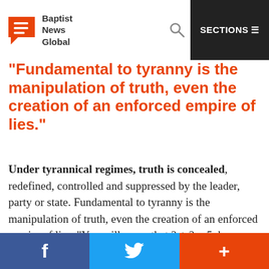Baptist News Global | SECTIONS
“Fundamental to tyranny is the manipulation of truth, even the creation of an enforced empire of lies.”
Under tyrannical regimes, truth is concealed, redefined, controlled and suppressed by the leader, party or state. Fundamental to tyranny is the manipulation of truth, even the creation of an enforced empire of lies. “You will agree that 2 + 2 = 5, because we say so, and we will enforce our redefinition of truth until we break you.”

Yet no state has proved capable of destroying the human
f  🐦  +